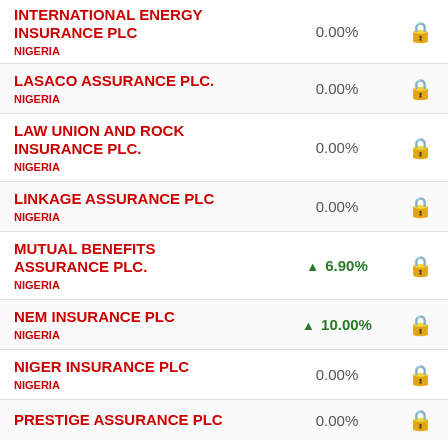INTERNATIONAL ENERGY INSURANCE PLC — NIGERIA — 0.00%
LASACO ASSURANCE PLC. — NIGERIA — 0.00%
LAW UNION AND ROCK INSURANCE PLC. — NIGERIA — 0.00%
LINKAGE ASSURANCE PLC — NIGERIA — 0.00%
MUTUAL BENEFITS ASSURANCE PLC. — NIGERIA — ▲ 6.90%
NEM INSURANCE PLC — NIGERIA — ▲ 10.00%
NIGER INSURANCE PLC — NIGERIA — 0.00%
PRESTIGE ASSURANCE PLC — NIGERIA — 0.00%